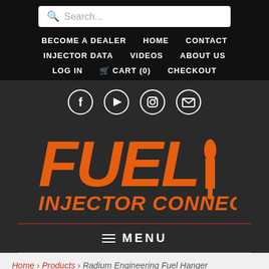[Figure (screenshot): Search bar with placeholder text 'Search...']
BECOME A DEALER  HOME  CONTACT  INJECTOR DATA  VIDEOS  ABOUT US  LOG IN  CART (0)  CHECKOUT
[Figure (logo): Fuel Injector Connection logo with social media icons (Facebook, YouTube, Instagram, Email)]
≡ MENU
Home › Products › Radium Engineering Fuel Hanger